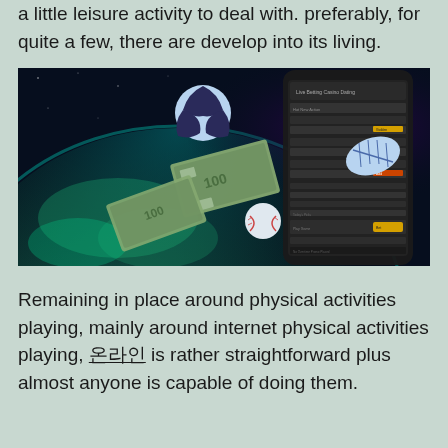a little leisure activity to deal with. preferably, for quite a few, there are develop into its living.
[Figure (photo): Sports betting themed image showing Earth from space with a smartphone displaying a betting app, surrounded by floating money bills, a soccer ball, a football, and a baseball.]
Remaining in place around physical activities playing, mainly around internet physical activities playing, 온라인 is rather straightforward plus almost anyone is capable of doing them.